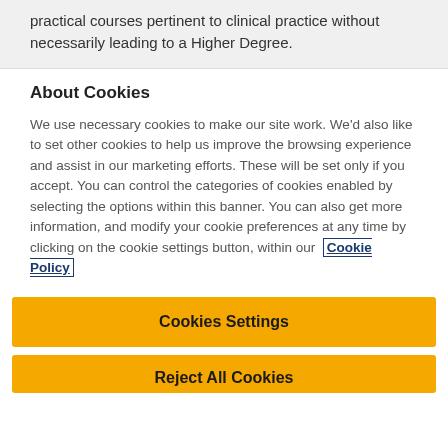practical courses pertinent to clinical practice without necessarily leading to a Higher Degree.
About Cookies
We use necessary cookies to make our site work. We'd also like to set other cookies to help us improve the browsing experience and assist in our marketing efforts. These will be set only if you accept. You can control the categories of cookies enabled by selecting the options within this banner. You can also get more information, and modify your cookie preferences at any time by clicking on the cookie settings button, within our Cookie Policy
Cookies Settings
Reject All Cookies